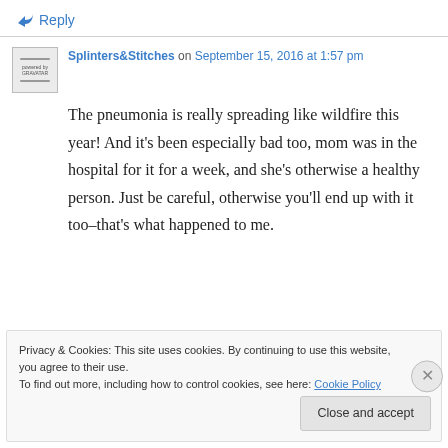↳ Reply
Splinters&Stitches on September 15, 2016 at 1:57 pm
The pneumonia is really spreading like wildfire this year! And it's been especially bad too, mom was in the hospital for it for a week, and she's otherwise a healthy person. Just be careful, otherwise you'll end up with it too–that's what happened to me.
Privacy & Cookies: This site uses cookies. By continuing to use this website, you agree to their use.
To find out more, including how to control cookies, see here: Cookie Policy
Close and accept